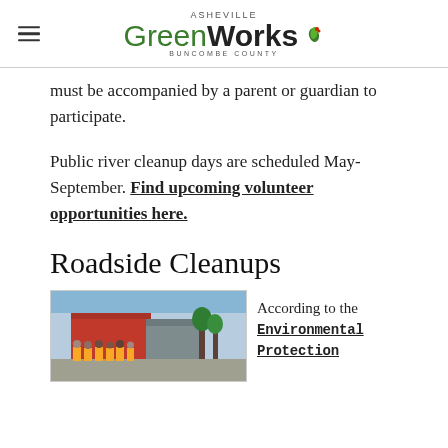Asheville GreenWorks Buncombe County
must be accompanied by a parent or guardian to participate.
Public river cleanup days are scheduled May-September. Find upcoming volunteer opportunities here.
Roadside Cleanups
[Figure (photo): Group of volunteers in yellow safety vests standing in front of buildings]
According to the Environmental Protection